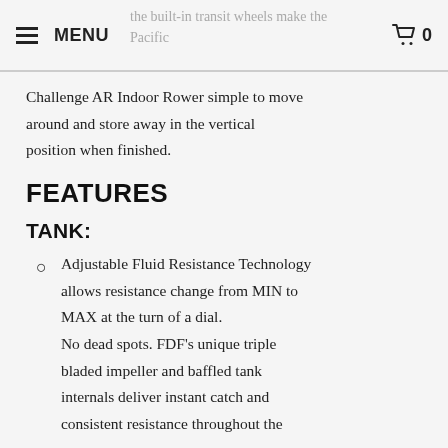MENU  [cart] 0
the built-in transit wheels make the Pacific Challenge AR Indoor Rower simple to move around and store away in the vertical position when finished.
FEATURES
TANK:
Adjustable Fluid Resistance Technology allows resistance change from MIN to MAX at the turn of a dial. No dead spots. FDF's unique triple bladed impeller and baffled tank internals deliver instant catch and consistent resistance throughout the